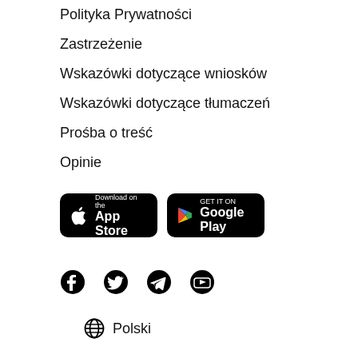Polityka Prywatności
Zastrzeżenie
Wskazówki dotyczące wniosków
Wskazówki dotyczące tłumaczeń
Prośba o treść
Opinie
[Figure (other): App store download buttons: Download on the App Store and GET IT ON Google Play]
[Figure (other): Social media icons: Facebook, Twitter, Telegram, YouTube]
Polski